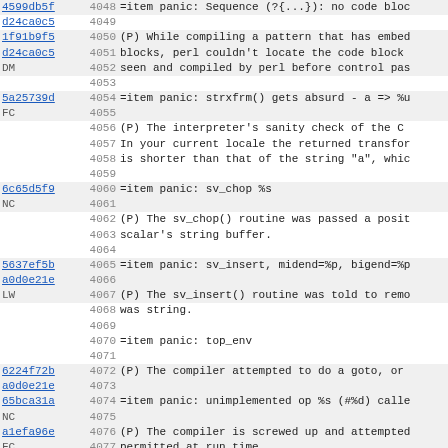| hash | lineno | code |
| --- | --- | --- |
| 4599db5f | 4048 | =item panic: Sequence (?{...}): no code bloc |
| d24ca0c5 | 4049 |  |
| 1f91b9f5 | 4050 | (P) While compiling a pattern that has embed |
| d24ca0c5 | 4051 | blocks, perl couldn't locate the code block |
| DM | 4052 | seen and compiled by perl before control pas |
|  | 4053 |  |
| 5a25739d | 4054 | =item panic: strxfrm() gets absurd - a => %u |
| FC | 4055 |  |
|  | 4056 | (P) The interpreter's sanity check of the C |
|  | 4057 | In your current locale the returned transfor |
|  | 4058 | is shorter than that of the string "a", whic |
|  | 4059 |  |
| 6c65d5f9 | 4060 | =item panic: sv_chop %s |
| NC | 4061 |  |
|  | 4062 | (P) The sv_chop() routine was passed a posit |
|  | 4063 | scalar's string buffer. |
|  | 4064 |  |
| 5637ef5b | 4065 | =item panic: sv_insert, midend=%p, bigend=%p |
| a0d0e21e | 4066 |  |
| LW | 4067 | (P) The sv_insert() routine was told to remo |
|  | 4068 | was string. |
|  | 4069 |  |
|  | 4070 | =item panic: top_env |
|  | 4071 |  |
| 6224f72b | 4072 | (P) The compiler attempted to do a goto, or |
| a0d0e21e | 4073 |  |
| 65bca31a | 4074 | =item panic: unimplemented op %s (#%d) calle |
| NC | 4075 |  |
| a1efa96e | 4076 | (P) The compiler is screwed up and attempted |
| FC | 4077 | permitted at run time. |
| 65bca31a | 4078 |  |
| dea0fc0b | 4079 | =item panic: utf16_to_utf8: odd bytelen |
|  | 4080 |  |